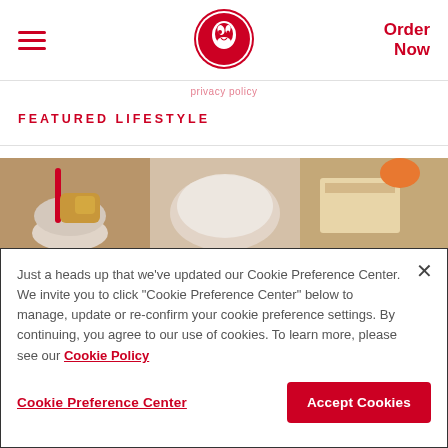≡  [Chick-fil-A Logo]  Order Now
FEATURED LIFESTYLE
[Figure (photo): Close-up food photo showing Chick-fil-A items including nuggets, a milkshake with red straw, a sandwich, and a bag]
Just a heads up that we've updated our Cookie Preference Center. We invite you to click "Cookie Preference Center" below to manage, update or re-confirm your cookie preference settings. By continuing, you agree to our use of cookies. To learn more, please see our Cookie Policy
Cookie Preference Center
Accept Cookies